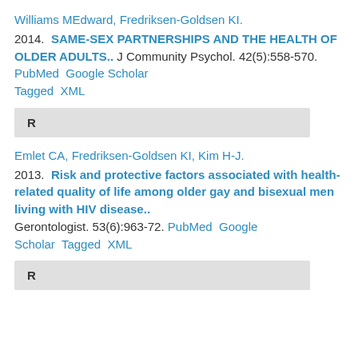Williams MEdward, Fredriksen-Goldsen KI. 2014. SAME-SEX PARTNERSHIPS AND THE HEALTH OF OLDER ADULTS.. J Community Psychol. 42(5):558-570. PubMed Google Scholar Tagged XML
R
Emlet CA, Fredriksen-Goldsen KI, Kim H-J. 2013. Risk and protective factors associated with health-related quality of life among older gay and bisexual men living with HIV disease.. Gerontologist. 53(6):963-72. PubMed Google Scholar Tagged XML
R